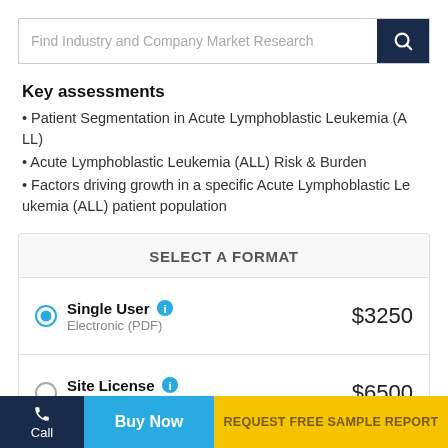[Figure (screenshot): Search bar with placeholder text 'Find Industry and Company Market Research' and a dark navy search button with magnifying glass icon]
Key assessments
Patient Segmentation in Acute Lymphoblastic Leukemia (ALL)
Acute Lymphoblastic Leukemia (ALL)  Risk & Burden
Factors driving growth in a specific Acute Lymphoblastic Leukemia (ALL)  patient population
| SELECT A FORMAT |  |  |
| --- | --- | --- |
| Single User  Electronic (PDF) |  | $3250 |
| Site License  Electronic (PDF) |  | $6500 |
Call | Buy Now | REQUEST FREE SAMPLE REPORT